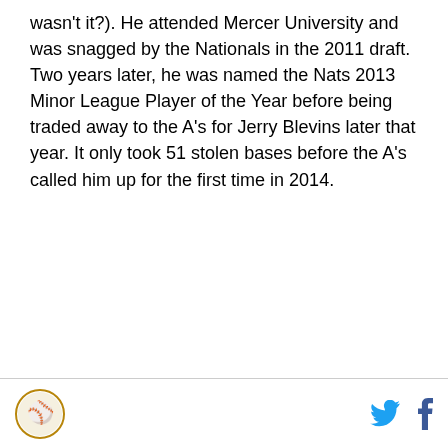wasn't it?). He attended Mercer University and was snagged by the Nationals in the 2011 draft. Two years later, he was named the Nats 2013 Minor League Player of the Year before being traded away to the A's for Jerry Blevins later that year. It only took 51 stolen bases before the A's called him up for the first time in 2014.
[logo] [twitter] [facebook]